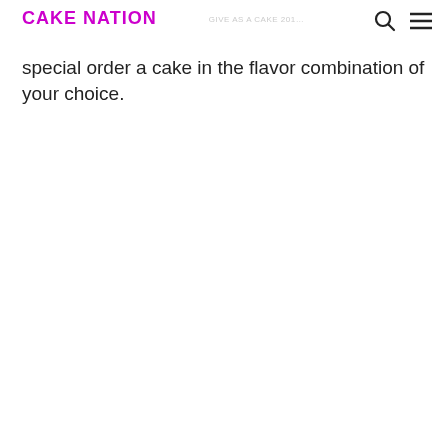CAKE NATION
live you can try vanilla and red velvet combination or to a special order a cake in the flavor combination of your choice.